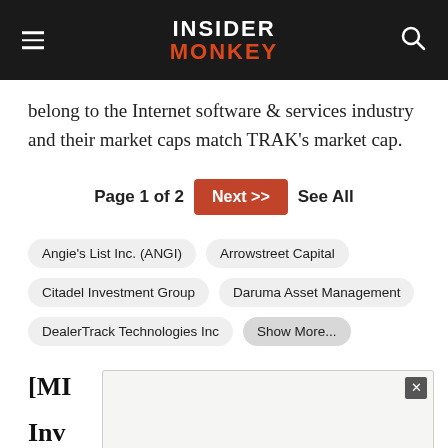INSIDER MONKEY
belong to the Internet software & services industry and their market caps match TRAK's market cap.
Page 1 of 2  Next >>  See All
Angie's List Inc. (ANGI)
Arrowstreet Capital
Citadel Investment Group
Daruma Asset Management
DealerTrack Technologies Inc
Show More...
[MI  ry Inv